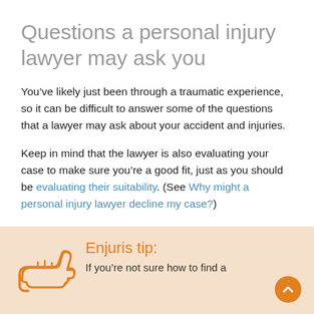Questions a personal injury lawyer may ask you
You’ve likely just been through a traumatic experience, so it can be difficult to answer some of the questions that a lawyer may ask about your accident and injuries.
Keep in mind that the lawyer is also evaluating your case to make sure you’re a good fit, just as you should be evaluating their suitability. (See Why might a personal injury lawyer decline my case?)
Enjuris tip:
If you’re not sure how to find a qualified injury lawyer, we can...